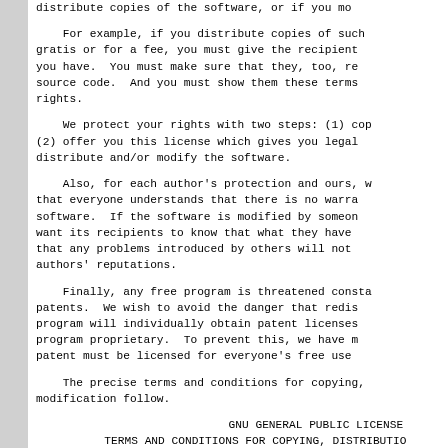distribute copies of the software, or if you mo
For example, if you distribute copies of such gratis or for a fee, you must give the recipient you have.  You must make sure that they, too, re source code.  And you must show them these terms rights.
We protect your rights with two steps: (1) cop (2) offer you this license which gives you legal distribute and/or modify the software.
Also, for each author's protection and ours, w that everyone understands that there is no warra software.  If the software is modified by someon want its recipients to know that what they have that any problems introduced by others will not authors' reputations.
Finally, any free program is threatened consta patents.  We wish to avoid the danger that redis program will individually obtain patent licenses program proprietary.  To prevent this, we have m patent must be licensed for everyone's free use
The precise terms and conditions for copying, modification follow.
GNU GENERAL PUBLIC LICENSE
TERMS AND CONDITIONS FOR COPYING, DISTRIBUTIO